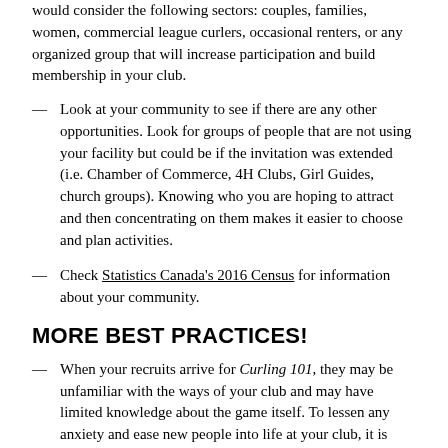would consider the following sectors: couples, families, women, commercial league curlers, occasional renters, or any organized group that will increase participation and build membership in your club.
Look at your community to see if there are any other opportunities. Look for groups of people that are not using your facility but could be if the invitation was extended (i.e. Chamber of Commerce, 4H Clubs, Girl Guides, church groups). Knowing who you are hoping to attract and then concentrating on them makes it easier to choose and plan activities.
Check Statistics Canada's 2016 Census for information about your community.
MORE BEST PRACTICES!
When your recruits arrive for Curling 101, they may be unfamiliar with the ways of your club and may have limited knowledge about the game itself. To lessen any anxiety and ease new people into life at your club, it is important to do everything possible to extend a friendly and informative welcome. Remember Curling 101 is a marketing tool. The